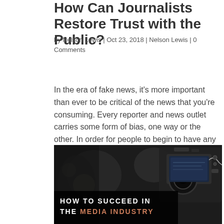How Can Journalists Restore Trust with the Public?
by Nelson Lewis | Oct 23, 2018 | Nelson Lewis | 0 Comments
In the era of fake news, it's more important than ever to be critical of the news that you're consuming. Every reporter and news outlet carries some form of bias, one way or the other. In order for people to begin to have any confidence in news media again,...
read more
[Figure (photo): Close-up photo of a professional video camera at a press event, with text overlay reading 'HOW TO SUCCEED IN THE MEDIA INDUSTRY' on a dark semi-transparent background]